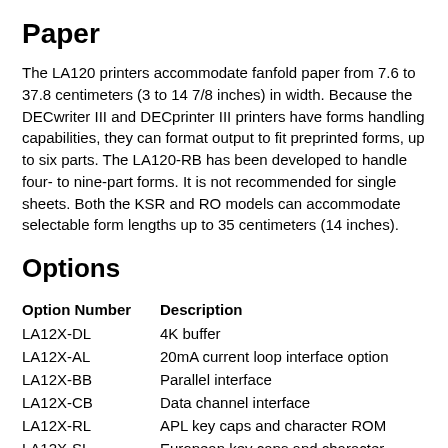Paper
The LA120 printers accommodate fanfold paper from 7.6 to 37.8 centimeters (3 to 14 7/8 inches) in width. Because the DECwriter III and DECprinter III printers have forms handling capabilities, they can format output to fit preprinted forms, up to six parts. The LA120-RB has been developed to handle four- to nine-part forms. It is not recommended for single sheets. Both the KSR and RO models can accommodate selectable form lengths up to 35 centimeters (14 inches).
Options
| Option Number | Description |
| --- | --- |
| LA12X-DL | 4K buffer |
| LA12X-AL | 20mA current loop interface option |
| LA12X-BB | Parallel interface |
| LA12X-CB | Data channel interface |
| LA12X-RL | APL key caps and character ROM |
| LA12X-SL | European key caps and character ROM |